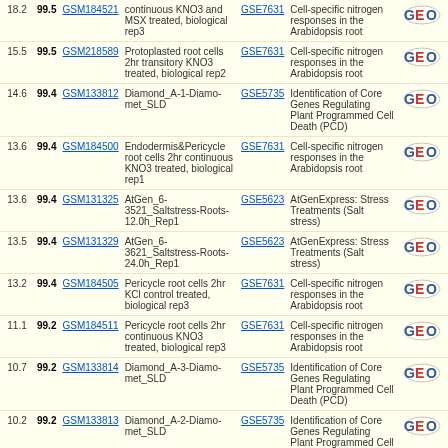| Score | Pct | GSM | Description | GSE | Title | Logo |
| --- | --- | --- | --- | --- | --- | --- |
| 18.2 | 99.5 | GSM184521 | continuous KNO3 and MSX treated, biological rep3 | GSE7631 | Cell-specific nitrogen responses in the Arabidopsis root | GEO |
| 15.5 | 99.5 | GSM218589 | Protoplasted root cells 2hr transitory KNO3 treated, biological rep2 | GSE7631 | Cell-specific nitrogen responses in the Arabidopsis root | GEO |
| 14.6 | 99.4 | GSM133812 | Diamond_A-1-Diamond_SLD | GSE5735 | Identification of Core Genes Regulating Plant Programmed Cell Death (PCD) | GEO |
| 13.6 | 99.4 | GSM184500 | Endodermis&Pericycle root cells 2hr continuous KNO3 treated, biological rep1 | GSE7631 | Cell-specific nitrogen responses in the Arabidopsis root | GEO |
| 13.6 | 99.4 | GSM131325 | AtGen_6-3521_Saltstress-Roots-12.0h_Rep1 | GSE5623 | AtGenExpress: Stress Treatments (Salt stress) | GEO |
| 13.5 | 99.4 | GSM131329 | AtGen_6-3621_Saltstress-Roots-24.0h_Rep1 | GSE5623 | AtGenExpress: Stress Treatments (Salt stress) | GEO |
| 13.2 | 99.4 | GSM184505 | Pericycle root cells 2hr KCl control treated, biological rep3 | GSE7631 | Cell-specific nitrogen responses in the Arabidopsis root | GEO |
| 11.1 | 99.2 | GSM184511 | Pericycle root cells 2hr continuous KNO3 treated, biological rep3 | GSE7631 | Cell-specific nitrogen responses in the Arabidopsis root | GEO |
| 10.7 | 99.2 | GSM133814 | Diamond_A-3-Diamond_SLD | GSE5735 | Identification of Core Genes Regulating Plant Programmed Cell Death (PCD) | GEO |
| 10.2 | 99.2 | GSM133813 | Diamond_A-2-Diamond_SLD | GSE5735 | Identification of Core Genes Regulating Plant Programmed Cell Death (PCD) | GEO |
| 9.3 | 99.1 | GSM131330 | AtGen_6-3622_Saltstress-Roots-24.0h_Rep2 | GSE5623 | AtGenExpress: Stress Treatments (Salt stress) | GEO |